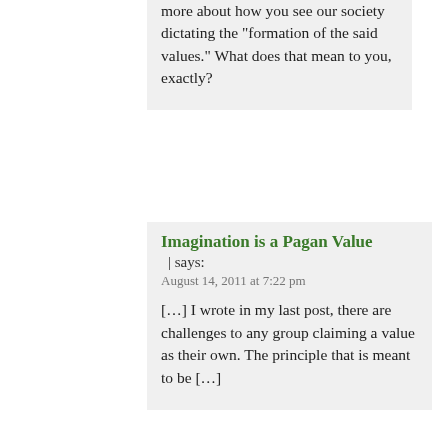more about how you see our society dictating the "formation of the said values." What does that mean to you, exactly?
Imagination is a Pagan Value | says:
August 14, 2011 at 7:22 pm
[…] I wrote in my last post, there are challenges to any group claiming a value as their own. The principle that is meant to be […]